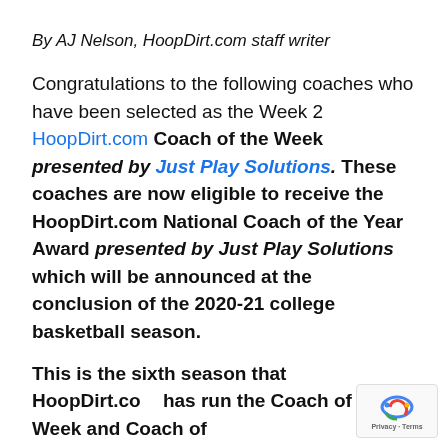By AJ Nelson, HoopDirt.com staff writer
Congratulations to the following coaches who have been selected as the Week 2 HoopDirt.com Coach of the Week presented by Just Play Solutions. These coaches are now eligible to receive the HoopDirt.com National Coach of the Year Award presented by Just Play Solutions which will be announced at the conclusion of the 2020-21 college basketball season.
This is the sixth season that HoopDirt.com has run the Coach of the Week and Coach of